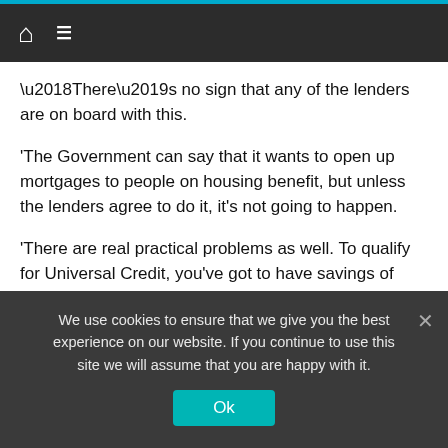Home | Menu
‘There’s no sign that any of the lenders are on board with this.
‘The Government can say that it wants to open up mortgages to people on housing benefit, but unless the lenders agree to do it, it’s not going to happen.
‘There are real practical problems as well. To qualify for Universal Credit, you’ve got to have savings of less than £16,000, which means that most people who the Government are trying to reach with this announcement are not going to have anything near the amount that
We use cookies to ensure that we give you the best experience on our website. If you continue to use this site we will assume that you are happy with it.